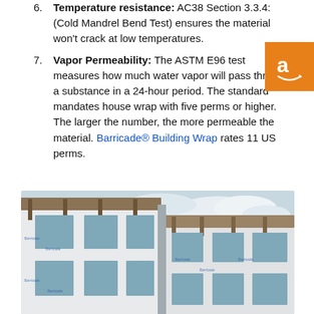Temperature resistance: AC38 Section 3.3.4: (Cold Mandrel Bend Test) ensures the material won't crack at low temperatures.
Vapor Permeability: The ASTM E96 test measures how much water vapor will pass through a substance in a 24-hour period. The standard mandates house wrap with five perms or higher. The larger the number, the more permeable the material. Barricade® Building Wrap rates 11 US perms.
[Figure (photo): Photo of a building under construction wrapped in Barricade building wrap (white wrap with blue logos), showing window openings and wooden framing/roof overhang structure.]